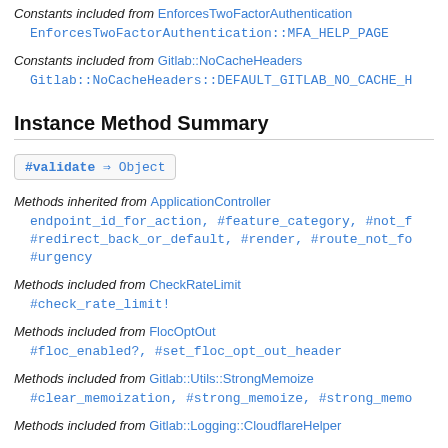Constants included from EnforcesTwoFactorAuthentication
EnforcesTwoFactorAuthentication::MFA_HELP_PAGE
Constants included from Gitlab::NoCacheHeaders
Gitlab::NoCacheHeaders::DEFAULT_GITLAB_NO_CACHE_H
Instance Method Summary
#validate ⇒ Object
Methods inherited from ApplicationController
endpoint_id_for_action, #feature_category, #not_f #redirect_back_or_default, #render, #route_not_fo #urgency
Methods included from CheckRateLimit
#check_rate_limit!
Methods included from FlocOptOut
#floc_enabled?, #set_floc_opt_out_header
Methods included from Gitlab::Utils::StrongMemoize
#clear_memoization, #strong_memoize, #strong_memo
Methods included from Gitlab::Logging::CloudflareHelper